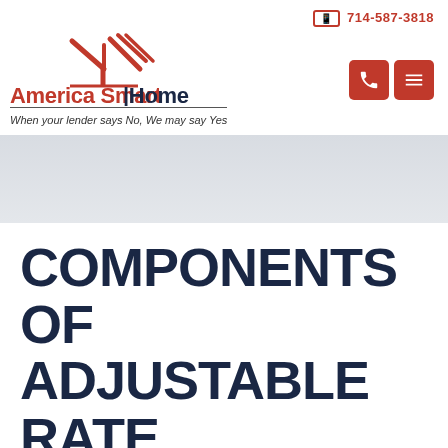📱 714-587-3818
[Figure (logo): America Smart Home Loans logo with house icon and tagline 'When your lender says No, We may say Yes']
[Figure (photo): Gray hero banner image area]
COMPONENTS OF ADJUSTABLE RATE